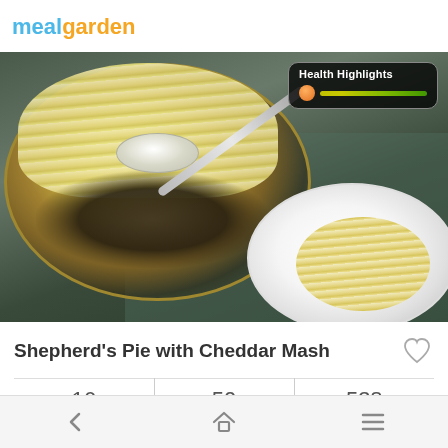mealgarden
[Figure (photo): Overhead photo of Shepherd's Pie with Cheddar Mash in a baking dish, with a spoon scooping out a portion showing meat filling and mashed potato topping. A plate with a portion is visible in the lower right. A 'Health Highlights' badge with an orange dot on a gradient bar is overlaid on the upper right.]
Shepherd's Pie with Cheddar Mash
| Ingredients | Minutes | Calories |
| --- | --- | --- |
| 16 | 50 | 538 |
← 🏠 ≡